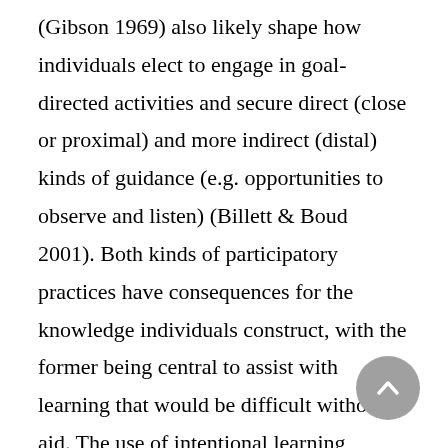(Gibson 1969) also likely shape how individuals elect to engage in goal-directed activities and secure direct (close or proximal) and more indirect (distal) kinds of guidance (e.g. opportunities to observe and listen) (Billett & Boud 2001). Both kinds of participatory practices have consequences for the knowledge individuals construct, with the former being central to assist with learning that would be difficult without aid. The use of intentional learning strategies in the workplace, such as guided learning, is also subject to contested participatory practices.